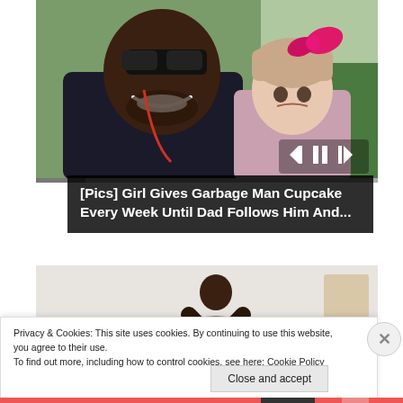[Figure (photo): A smiling man with sunglasses and a beard posing with a young girl wearing a pink bow, outdoors with green grass visible in the background. Video player controls (skip back, pause, skip forward) are visible overlaid on the bottom right of the photo.]
[Pics] Girl Gives Garbage Man Cupcake Every Week Until Dad Follows Him And...
[Figure (photo): A person in a dynamic pose against a light background, partially cropped.]
Privacy & Cookies: This site uses cookies. By continuing to use this website, you agree to their use.
To find out more, including how to control cookies, see here: Cookie Policy
Close and accept